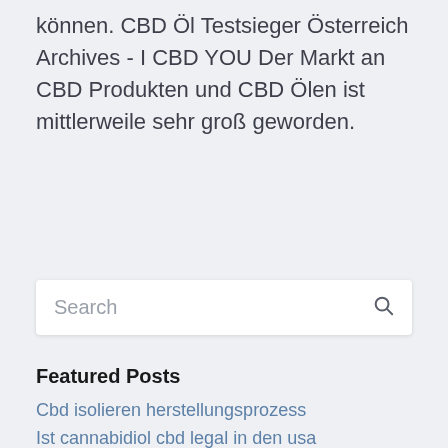können. CBD Öl Testsieger Österreich Archives - I CBD YOU Der Markt an CBD Produkten und CBD Ölen ist mittlerweile sehr groß geworden.
[Figure (other): Search input box with placeholder text 'Search' and a search icon on the right]
Featured Posts
Cbd isolieren herstellungsprozess
Ist cannabidiol cbd legal in den usa